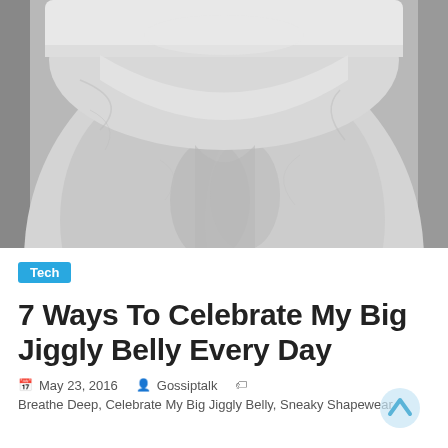[Figure (photo): Black and white close-up photo of a plus-size person's midsection and upper thighs wearing white underwear, showing skin texture and body fat]
Tech
7 Ways To Celebrate My Big Jiggly Belly Every Day
May 23, 2016   Gossiptalk   Breathe Deep, Celebrate My Big Jiggly Belly, Sneaky Shapewear